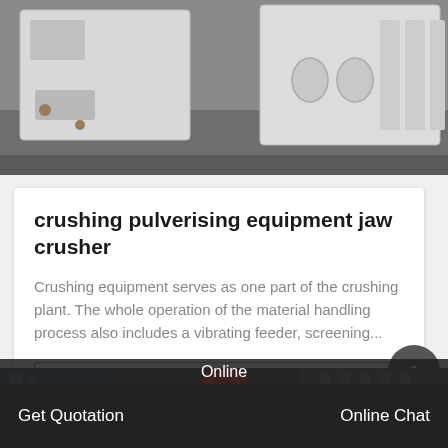[Figure (photo): Close-up photo of white industrial jaw crusher equipment parts on a concrete floor]
crushing pulverising equipment jaw crusher
Crushing equipment serves as one part of the crushing plant. The whole operation of the material handling process also includes a vibrating feeder, screening...
Get Price
[Figure (photo): Industrial facility interior with red circular equipment and steel framework structures]
Online
Get Quotation
Online Chat